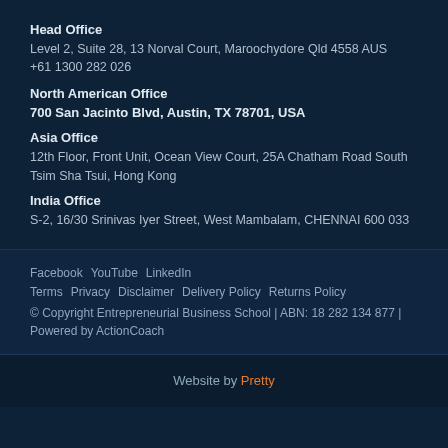Head Office
Level 2, Suite 28, 13 Norval Court, Maroochydore Qld 4558 AUS
+61 1300 282 026
North American Office
700 San Jacinto Blvd, Austin, TX 78701, USA
Asia Office
12th Floor, Front Unit, Ocean View Court, 25A Chatham Road South Tsim Sha Tsui, Hong Kong
India Office
S-2, 16/30 Srinivas Iyer Street, West Mambalam, CHENNAI 600 033
Facebook  YouTube  LinkedIn
Terms  Privacy  Disclaimer  Delivery Policy  Returns Policy
© Copyright Entrepreneurial Business School | ABN: 18 282 134 877 | Powered by ActionCoach
Website by Pretty